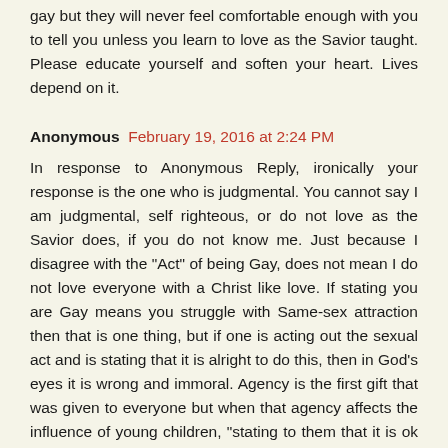gay but they will never feel comfortable enough with you to tell you unless you learn to love as the Savior taught. Please educate yourself and soften your heart. Lives depend on it.
Anonymous February 19, 2016 at 2:24 PM
In response to Anonymous Reply, ironically your response is the one who is judgmental. You cannot say I am judgmental, self righteous, or do not love as the Savior does, if you do not know me. Just because I disagree with the "Act" of being Gay, does not mean I do not love everyone with a Christ like love. If stating you are Gay means you struggle with Same-sex attraction then that is one thing, but if one is acting out the sexual act and is stating that it is alright to do this, then in God's eyes it is wrong and immoral. Agency is the first gift that was given to everyone but when that agency affects the influence of young children, "stating to them that it is ok to act out like this" then this is where